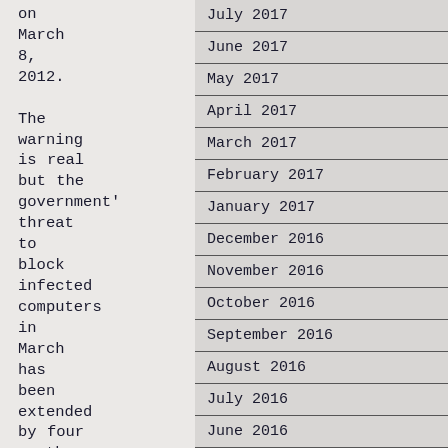on March 8, 2012. The warning is real but the government's threat to block infected computers in March has been extended by four months, according to a
| July 2017 |
| June 2017 |
| May 2017 |
| April 2017 |
| March 2017 |
| February 2017 |
| January 2017 |
| December 2016 |
| November 2016 |
| October 2016 |
| September 2016 |
| August 2016 |
| July 2016 |
| June 2016 |
| May 2016 |
| April 2016 |
| March 2016 |